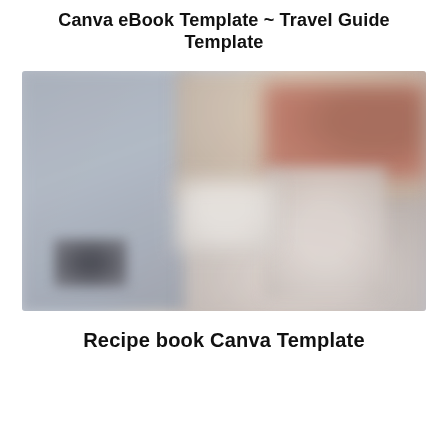Canva eBook Template ~ Travel Guide Template
[Figure (photo): Blurred photograph showing what appears to be kitchen or recipe-related items on a light gray/beige background, with warm brown and rust tones in the upper right and a dark object in the lower left.]
Recipe book Canva Template